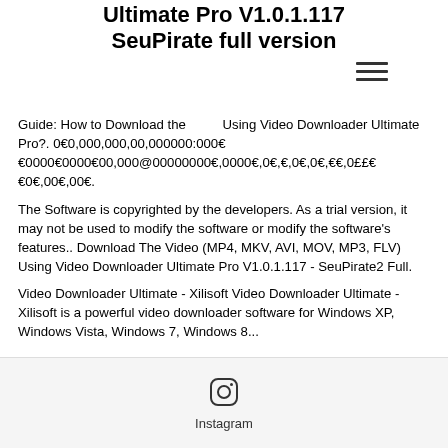Ultimate Pro V1.0.1.117 SeuPirate full version
[Figure (other): Hamburger menu icon (three horizontal lines)]
Guide: How to Download the [menu icon] Using Video Downloader Ultimate Pro?. 0€0,000,000,00,000000:000€€0000€0000€00,000@00000000€,0000€,0€,€,0€,0€,€€,0££€€0€,00€,00€.
The Software is copyrighted by the developers. As a trial version, it may not be used to modify the software or modify the software's features.. Download The Video (MP4, MKV, AVI, MOV, MP3, FLV) Using Video Downloader Ultimate Pro V1.0.1.117 - SeuPirate2 Full.
Video Downloader Ultimate - Xilisoft Video Downloader Ultimate - Xilisoft is a powerful video downloader software for Windows XP, Windows Vista, Windows 7, Windows 8...
[Figure (logo): Instagram logo icon with label 'Instagram']